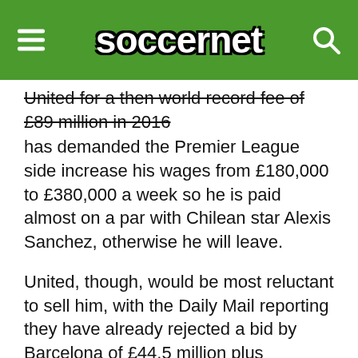soccernet
United for a then world record fee of £89 million in 2016 has demanded the Premier League side increase his wages from £180,000 to £380,000 a week so he is paid almost on a par with Chilean star Alexis Sanchez, otherwise he will leave.
United, though, would be most reluctant to sell him, with the Daily Mail reporting they have already rejected a bid by Barcelona of £44.5 million plus Colombian central defender Yerry Mina and Portuguese midfielder Andre Gomes.
Mourinho has expressed his frustration over the club's transfer policy, and Pogba's departure would leave little time for executive chairman Ed Woodward to find a suitable replacement with the Premier League transfer